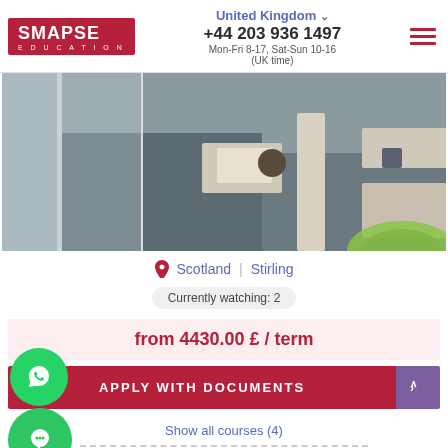[Figure (logo): SMAPSE EDUCATION logo in dark red/crimson rectangle]
United Kingdom ∨
+44 203 936 1497
Mon-Fri 8-17, Sat-Sun 10-16
(UK time)
[Figure (photo): Overhead/aerial view of a modern office or educational space with desks, chairs, a pillar, glass dividers, and a green circular element visible at the bottom right.]
Scotland  |  Stirling
Currently watching: 2
from 4430.00 £ / term
APPLY WITH DOCUMENTS
Show all courses (4)